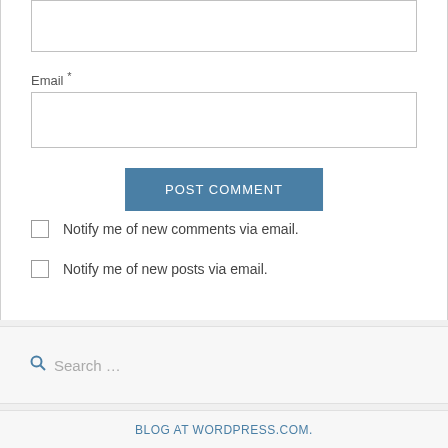[Figure (screenshot): Text input field (name field, partially visible at top)]
Email *
[Figure (screenshot): Email text input field]
POST COMMENT
Notify me of new comments via email.
Notify me of new posts via email.
Search …
BLOG AT WORDPRESS.COM.